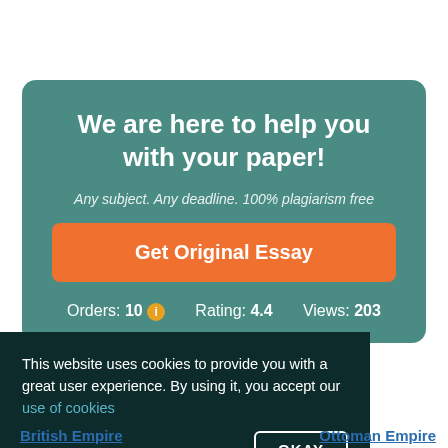We are here to help you with your paper!
Any subject. Any deadline. 100% plagiarism free
Get Original Essay
Orders: 10   Rating: 4.4   Views: 203
This website uses cookies to provide you with a great user experience. By using it, you accept our use of cookies
OKAY
British Empire
Ottoman Empire